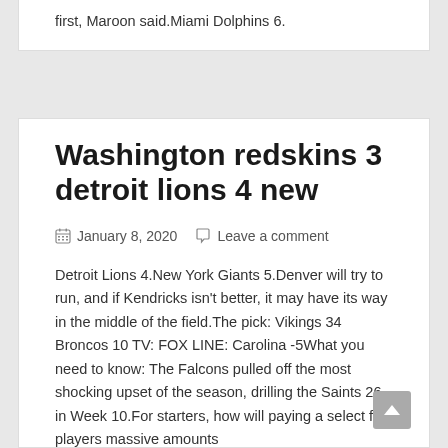first, Maroon said.Miami Dolphins 6.
Washington redskins 3 detroit lions 4 new
January 8, 2020   Leave a comment
Detroit Lions 4.New York Giants 5.Denver will try to run, and if Kendricks isn't better, it may have its way in the middle of the field.The pick: Vikings 34 Broncos 10 TV: FOX LINE: Carolina -5What you need to know: The Falcons pulled off the most shocking upset of the season, drilling the Saints 26 in Week 10.For starters, how will paying a select few players massive amounts